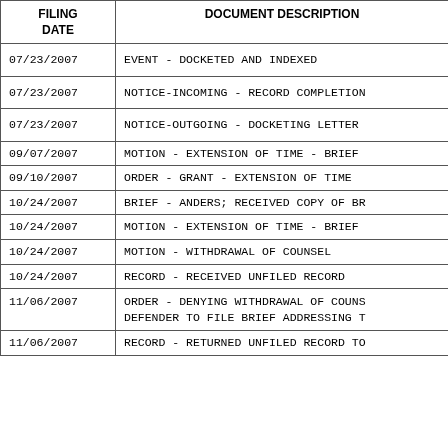| FILING DATE | DOCUMENT DESCRIPTION |
| --- | --- |
| 07/23/2007 | EVENT - DOCKETED AND INDEXED |
| 07/23/2007 | NOTICE-INCOMING - RECORD COMPLETION |
| 07/23/2007 | NOTICE-OUTGOING - DOCKETING LETTER |
| 09/07/2007 | MOTION - EXTENSION OF TIME - BRIEF |
| 09/10/2007 | ORDER - GRANT - EXTENSION OF TIME |
| 10/24/2007 | BRIEF - ANDERS; RECEIVED COPY OF BR |
| 10/24/2007 | MOTION - EXTENSION OF TIME - BRIEF |
| 10/24/2007 | MOTION - WITHDRAWAL OF COUNSEL |
| 10/24/2007 | RECORD - RECEIVED UNFILED RECORD |
| 11/06/2007 | ORDER - DENYING WITHDRAWAL OF COUNS DEFENDER TO FILE BRIEF ADDRESSING T |
| 11/06/2007 | RECORD - RETURNED UNFILED RECORD TO |